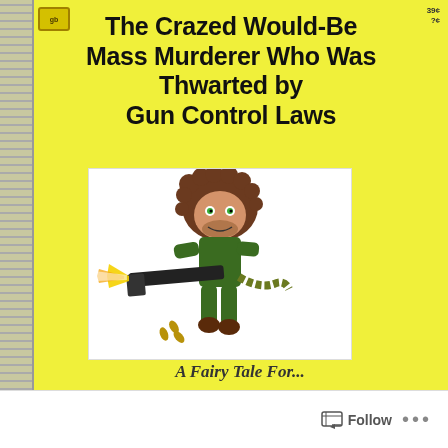The Crazed Would-Be Mass Murderer Who Was Thwarted by Gun Control Laws
[Figure (illustration): Cartoon illustration of a wild-haired figure dressed in green military clothes, holding a large machine gun with a muzzle flash and bullet casings falling, with an ammunition belt hanging to the side]
A Fairy Tale For...
Follow ...